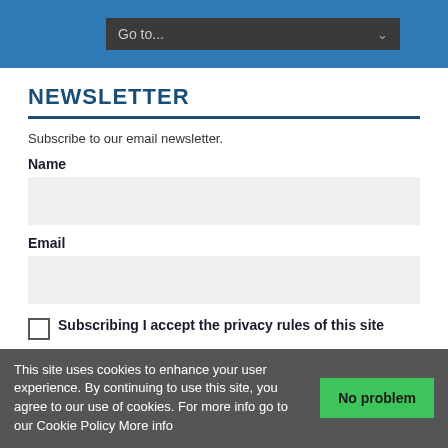Go to...
NEWSLETTER
Subscribe to our email newsletter.
Name
Email
Subscribing I accept the privacy rules of this site
Subscribe
This site uses cookies to enhance your user experience. By continuing to use this site, you agree to our use of cookies. For more info go to our Cookie Policy More info